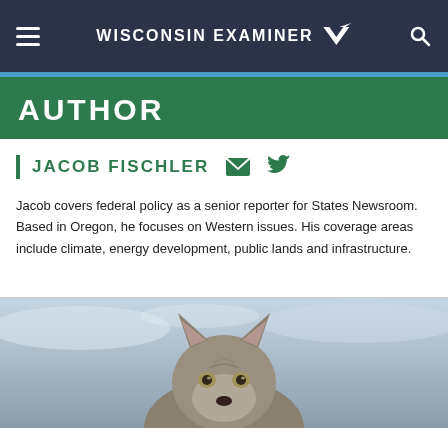Wisconsin Examiner
AUTHOR
JACOB FISCHLER
Jacob covers federal policy as a senior reporter for States Newsroom. Based in Oregon, he focuses on Western issues. His coverage areas include climate, energy development, public lands and infrastructure.
[Figure (photo): Close-up photograph of a wolf facing the camera against a snowy background]